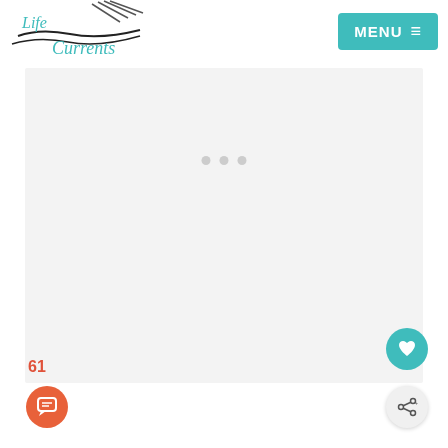[Figure (logo): Life Currents logo with decorative wave/fork graphic in black and teal text]
[Figure (screenshot): Teal MENU button with hamburger icon in top right corner]
[Figure (other): Light gray advertisement placeholder rectangle with three gray dots]
61
[Figure (other): Orange circular chat/comment button]
[Figure (other): Teal circular heart/favorite button]
[Figure (other): Light gray circular share button with share icon]